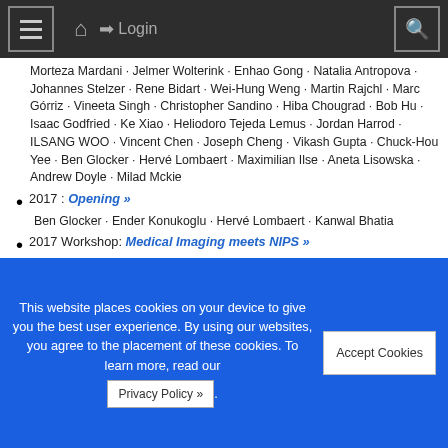≡  🏠  ➔ Login  🔍
Morteza Mardani · Jelmer Wolterink · Enhao Gong · Natalia Antropova · Johannes Stelzer · Rene Bidart · Wei-Hung Weng · Martin Rajchl · Marc Górriz · Vineeta Singh · Christopher Sandino · Hiba Chougrad · Bob Hu · Isaac Godfried · Ke Xiao · Heliodoro Tejeda Lemus · Jordan Harrod · ILSANG WOO · Vincent Chen · Joseph Cheng · Vikash Gupta · Chuck-Hou Yee · Ben Glocker · Hervé Lombaert · Maximilian Ilse · Aneta Lisowska · Andrew Doyle · Milad Mckie
2017 : Opening »
Ben Glocker · Ender Konukoglu · Hervé Lombaert · Kanwal Bhatia
2017 Workshop: Medical Imaging meets NIPS »
Ben Glocker · Ender Konukoglu · Hervé Lombaert · Kanwal
This website places cookies on your device to give you the best user experience. By using our websites, you agree to the placement of these cookies. To learn more, read our Privacy Policy ».